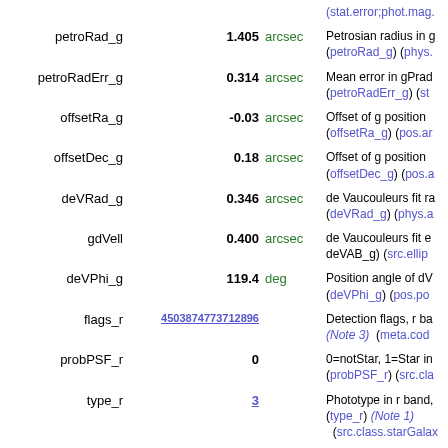| Name | Value | Unit | Description |
| --- | --- | --- | --- |
|  | (stat.error;phot.mag. |  |  |
| petroRad_g | 1.405 | arcsec | Petrosian radius in g (petroRad_g) (phys.a... |
| petroRadErr_g | 0.314 | arcsec | Mean error in gPrad (petroRadErr_g) (st... |
| offsetRa_g | -0.03 | arcsec | Offset of g position (offsetRa_g) (pos.ar... |
| offsetDec_g | 0.18 | arcsec | Offset of g position (offsetDec_g) (pos.a... |
| deVRad_g | 0.346 | arcsec | de Vaucouleurs fit ra (deVRad_g) (phys.a... |
| gdVell | 0.400 | arcsec | de Vaucouleurs fit e deVAB_g) (src.ellip... |
| deVPhi_g | 119.4 | deg | Position angle of dV (deVPhi_g) (pos.po... |
| flags_r | 4503874773712896 |  | Detection flags, r ba (Note 3) (meta.cod... |
| probPSF_r | 0 |  | 0=notStar, 1=Star in (probPSF_r) (src.cl... |
| type_r | 3 |  | Phototype in r band, (type_r) (Note 1) (src.class.starGalax... |
| rDate | 2001.9699 | yr | Date of observation... |